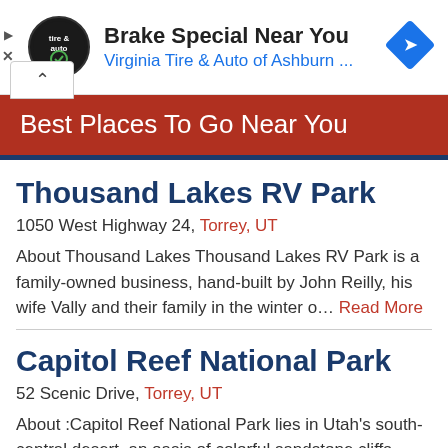[Figure (other): Advertisement banner for Virginia Tire & Auto of Ashburn with logo and navigation icon]
Best Places To Go Near You
Thousand Lakes RV Park
1050 West Highway 24, Torrey, UT
About Thousand Lakes Thousand Lakes RV Park is a family-owned business, hand-built by John Reilly, his wife Vally and their family in the winter o… Read More
Capitol Reef National Park
52 Scenic Drive, Torrey, UT
About :Capitol Reef National Park lies in Utah's south-central desert, an oasis of colorful sandstone cliffs,